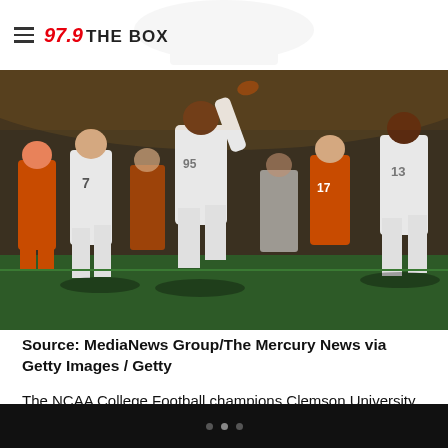97.9 THE BOX
[Figure (photo): Clemson University football players celebrating in orange and white uniforms on the field, numbers visible including 7, 95, 17, 13, celebrating a championship win]
Source: MediaNews Group/The Mercury News via Getty Images / Getty
The NCAA College Football champions Clemson University